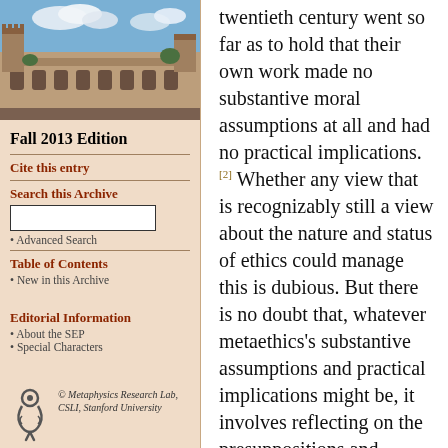[Figure (photo): Photo of a university building (stone architecture with towers), likely Stanford or Oxford, under a blue sky with clouds]
Fall 2013 Edition
Cite this entry
Search this Archive
Advanced Search
Table of Contents
New in this Archive
Editorial Information
About the SEP
Special Characters
© Metaphysics Research Lab, CSLI, Stanford University
twentieth century went so far as to hold that their own work made no substantive moral assumptions at all and had no practical implications.[2] Whether any view that is recognizably still a view about the nature and status of ethics could manage this is dubious. But there is no doubt that, whatever metaethics's substantive assumptions and practical implications might be, it involves reflecting on the presuppositions and commitments of those engaging in moral thought, talk, and practice and so abstracting away from particular moral judgments.